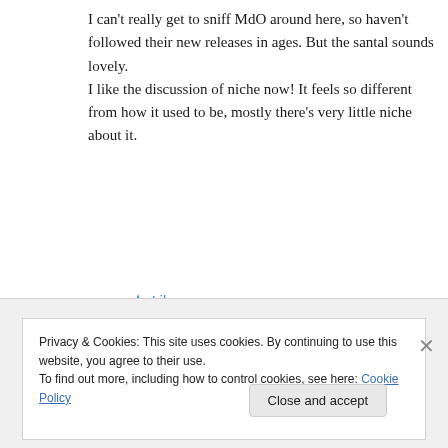I can't really get to sniff MdO around here, so haven't followed their new releases in ages. But the santal sounds lovely.
I like the discussion of niche now! It feels so different from how it used to be, mostly there's very little niche about it.
★ Like
↪ Reply
Privacy & Cookies: This site uses cookies. By continuing to use this website, you agree to their use.
To find out more, including how to control cookies, see here: Cookie Policy
Close and accept